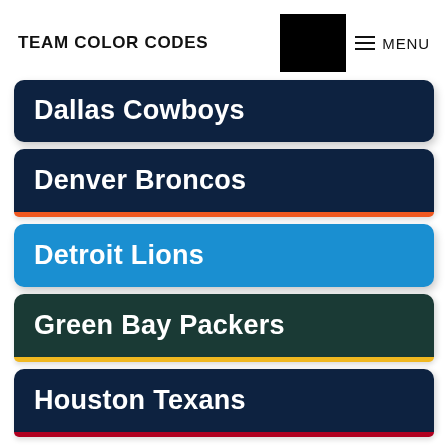TEAM COLOR CODES  MENU
Dallas Cowboys
Denver Broncos
Detroit Lions
Green Bay Packers
Houston Texans